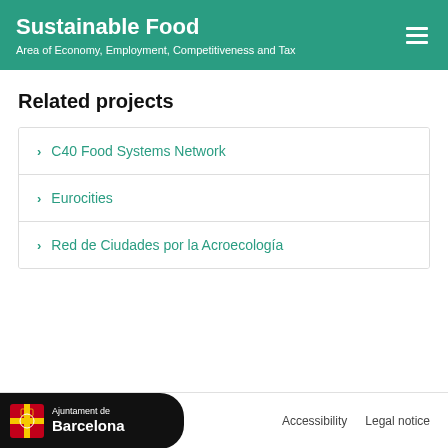Sustainable Food — Area of Economy, Employment, Competitiveness and Tax
Related projects
C40 Food Systems Network
Eurocities
Red de Ciudades por la Acroecología
Ajuntament de Barcelona | Accessibility | Legal notice